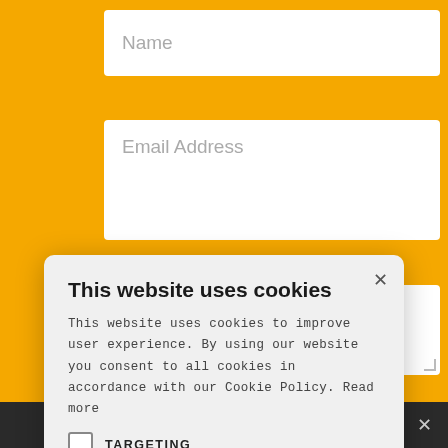[Figure (screenshot): Orange website background with form fields: Name input at top, Email Address input below, partial message textarea and send button visible. A cookie consent modal overlays the center-left.]
This website uses cookies
This website uses cookies to improve user experience. By using our website you consent to all cookies in accordance with our Cookie Policy. Read more
TARGETING
UNCLASSIFIED
ACCEPT ALL
DECLINE ALL
SHOW DETAILS
Share This ˅